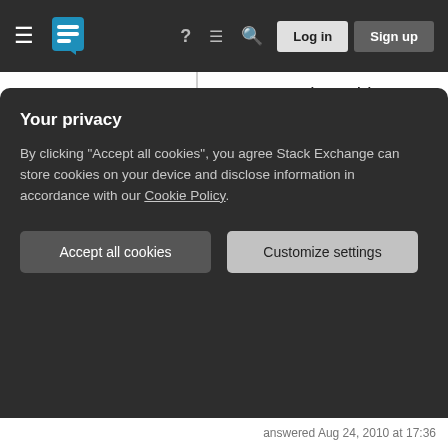Navigation bar with hamburger menu, Stack Exchange logo, question mark, menu, search, Log in, Sign up buttons
want to on the subject, which often isn't possible.

In practical shooting with the 100mm macro, this effect frequently negates any potential benefits offered by the Hybrid IS, as there's little point in getting a picture which is unaffected by shake but not in correct focus. So until designers work out a way to continuously correct focus in a similar manner to shake, even Hybrid IS is
Your privacy

By clicking "Accept all cookies", you agree Stack Exchange can store cookies on your device and disclose information in accordance with our Cookie Policy.

Accept all cookies    Customize settings
answered Aug 24, 2010 at 17:36